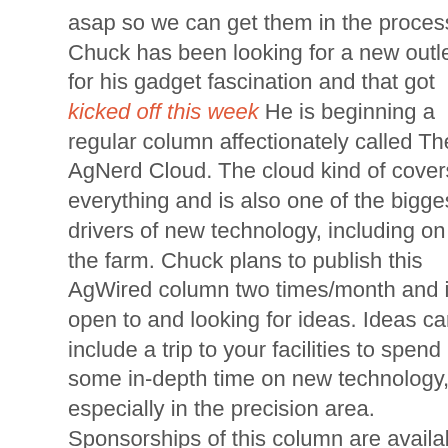asap so we can get them in the process. Chuck has been looking for a new outlet for his gadget fascination and that got kicked off this week He is beginning a regular column affectionately called The AgNerd Cloud. The cloud kind of covers everything and is also one of the biggest drivers of new technology, including on the farm. Chuck plans to publish this AgWired column two times/month and is open to and looking for ideas. Ideas can include a trip to your facilities to spend some in-depth time on new technology, especially in the precision area. Sponsorships of this column are available right now btw. According to our latest New Holland sponsored ZimmPoll most think that anti-GMO attitudes present the biggest challenge to the seed industry followed next by environmental regulations. In the spirt of AgNerdish gadgetry our new ZimmPoll wants to know "What type of gadget is on your wish or to-give list?"